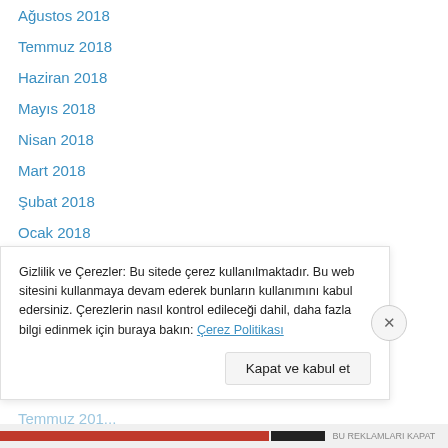Ağustos 2018
Temmuz 2018
Haziran 2018
Mayıs 2018
Nisan 2018
Mart 2018
Şubat 2018
Ocak 2018
Aralık 2017
Kasım 2017
Ekim 2017
Eylül 2017
Ağustos 2017
Temmuz 2017
Gizlilik ve Çerezler: Bu sitede çerez kullanılmaktadır. Bu web sitesini kullanmaya devam ederek bunların kullanımını kabul edersiniz. Çerezlerin nasıl kontrol edileceği dahil, daha fazla bilgi edinmek için buraya bakın: Çerez Politikası
Kapat ve kabul et